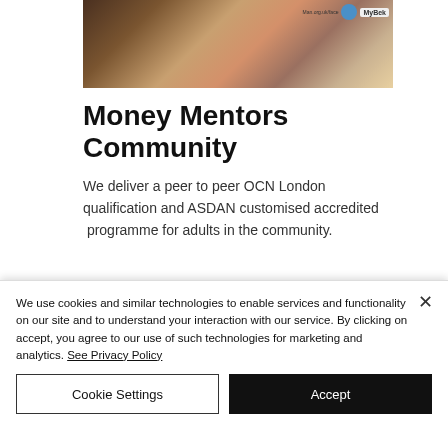[Figure (photo): Partial photo of people at a community event with logo badges including MyBek visible in top right]
Money Mentors Community
We deliver a peer to peer OCN London qualification and ASDAN customised accredited  programme for adults in the community.
[Figure (photo): Photo of a computer monitor/screen setup in a room]
We use cookies and similar technologies to enable services and functionality on our site and to understand your interaction with our service. By clicking on accept, you agree to our use of such technologies for marketing and analytics. See Privacy Policy